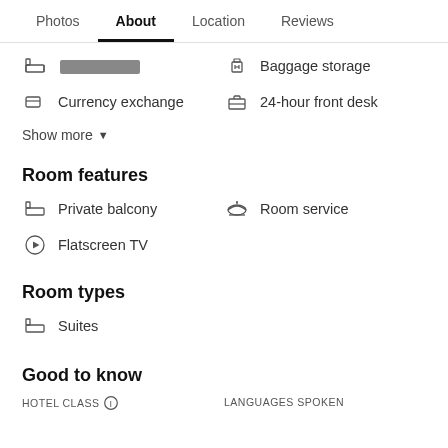Photos  About  Location  Reviews
[redacted]  Baggage storage
Currency exchange  24-hour front desk
Show more
Room features
Private balcony  Room service
Flatscreen TV
Room types
Suites
Good to know
HOTEL CLASS  LANGUAGES SPOKEN